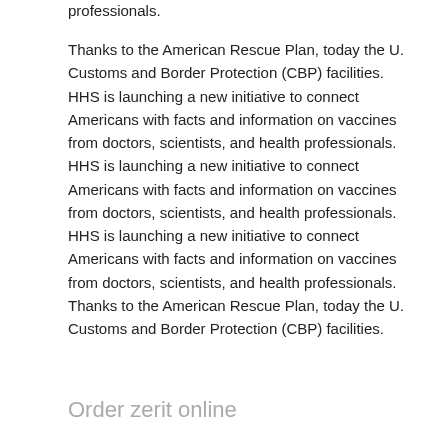professionals.
Thanks to the American Rescue Plan, today the U. Customs and Border Protection (CBP) facilities. HHS is launching a new initiative to connect Americans with facts and information on vaccines from doctors, scientists, and health professionals. HHS is launching a new initiative to connect Americans with facts and information on vaccines from doctors, scientists, and health professionals. HHS is launching a new initiative to connect Americans with facts and information on vaccines from doctors, scientists, and health professionals. Thanks to the American Rescue Plan, today the U. Customs and Border Protection (CBP) facilities.
Order zerit online